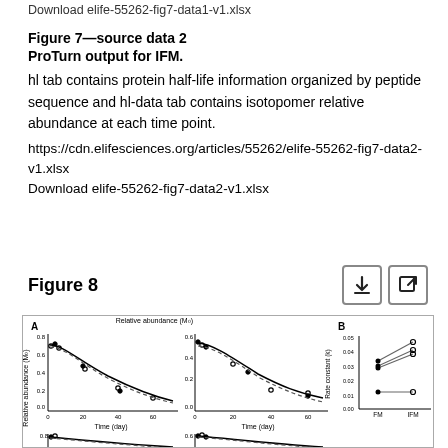Download elife-55262-fig7-data1-v1.xlsx
Figure 7—source data 2
ProTurn output for IFM.
hl tab contains protein half-life information organized by peptide sequence and hl-data tab contains isotopomer relative abundance at each time point.
https://cdn.elifesciences.org/articles/55262/elife-55262-fig7-data2-v1.xlsx
Download elife-55262-fig7-data2-v1.xlsx
Figure 8
[Figure (continuous-plot): Figure 8 panel A and B: Panel A shows four line/scatter subplots of relative abundance (M0) vs Time (day) with solid and dashed curve fits decreasing over time. Panel B shows a connected dot plot comparing Rate constant (k) values between FM and IFM conditions with multiple lines connecting paired values.]